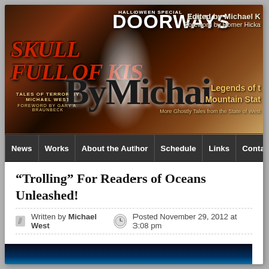[Figure (illustration): Website banner showing book covers: 'Skull Full of Kisses' (horror), 'Doorways' magazine, and 'Legends of the Mountain State' book. Large text 'ByMichael' overlaid. Text includes 'Edited by Michael K', 'Foreword by Homer Hicka', 'Tales of Terror by Michael West', 'Foreword by Gary A. Braunbeck'.]
News | Works | About the Author | Schedule | Links | Conta
“Trolling” For Readers of Oceans Unleashed!
Written by Michael West | Posted November 29, 2012 at 3:08 pm
[Figure (photo): Bottom thumbnail/preview image with blue gradient background, partial view of a photo.]